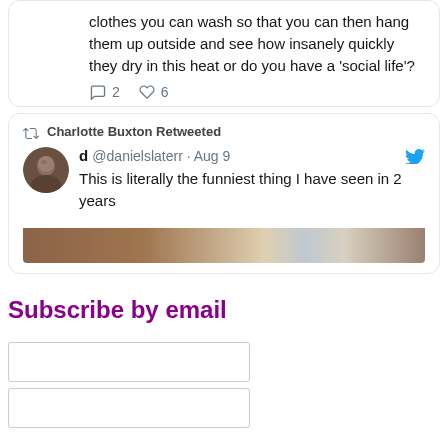clothes you can wash so that you can then hang them up outside and see how insanely quickly they dry in this heat or do you have a 'social life'?
2  6
Charlotte Buxton Retweeted
d @danielslaterr · Aug 9
This is literally the funniest thing I have seen in 2 years
[Figure (photo): Partial image strip showing a photo]
Subscribe by email